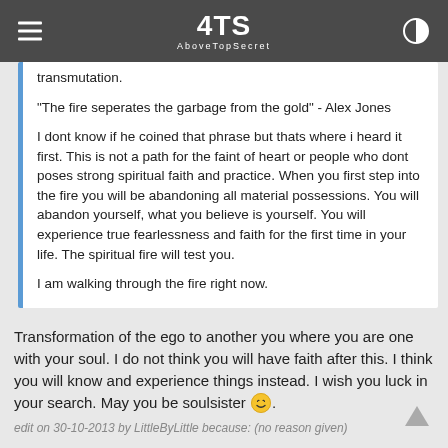ATS AboveTopSecret
transmutation.

"The fire seperates the garbage from the gold" - Alex Jones

I dont know if he coined that phrase but thats where i heard it first. This is not a path for the faint of heart or people who dont poses strong spiritual faith and practice. When you first step into the fire you will be abandoning all material possessions. You will abandon yourself, what you believe is yourself. You will experience true fearlessness and faith for the first time in your life. The spiritual fire will test you.

I am walking through the fire right now.
Transformation of the ego to another you where you are one with your soul. I do not think you will have faith after this. I think you will know and experience things instead. I wish you luck in your search. May you be soulsister 😊.
edit on 30-10-2013 by LittleByLittle because: (no reason given)